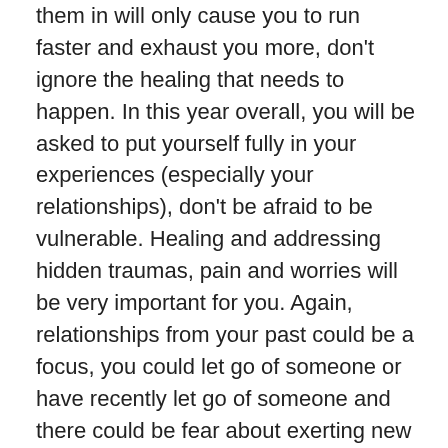them in will only cause you to run faster and exhaust you more, don't ignore the healing that needs to happen. In this year overall, you will be asked to put yourself fully in your experiences (especially your relationships), don't be afraid to be vulnerable. Healing and addressing hidden traumas, pain and worries will be very important for you. Again, relationships from your past could be a focus, you could let go of someone or have recently let go of someone and there could be fear about exerting new relations (or environments overall in the new year). If something has been left, it has been left for a reason, rather than lamenting on it, reflect, heal and move forward. In this month, it is very important that you unpack how your fear and you holding on is hindering you from fully embracing new relations and spaces. The theme of